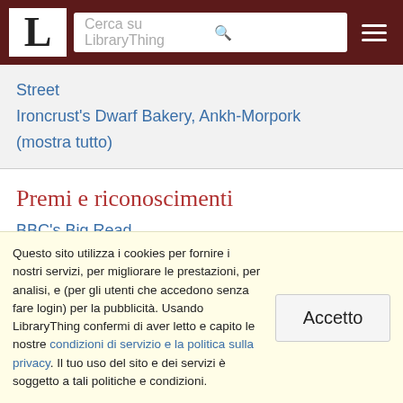L — Cerca su LibraryThing
Street
Ironcrust's Dwarf Bakery, Ankh-Morpork
(mostra tutto)
Premi e riconoscimenti
BBC's Big Read
Prometheus Award
Prix Imaginales
Questo sito utilizza i cookies per fornire i nostri servizi, per migliorare le prestazioni, per analisi, e (per gli utenti che accedono senza fare login) per la pubblicità. Usando LibraryThing confermi di aver letto e capito le nostre condizioni di servizio e la politica sulla privacy. Il tuo uso del sito e dei servizi è soggetto a tali politiche e condizioni.